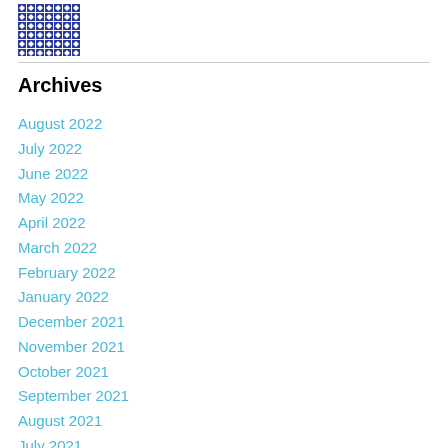[Figure (logo): Blue geometric/tribal pattern logo in top left corner]
Archives
August 2022
July 2022
June 2022
May 2022
April 2022
March 2022
February 2022
January 2022
December 2021
November 2021
October 2021
September 2021
August 2021
July 2021
June 2021